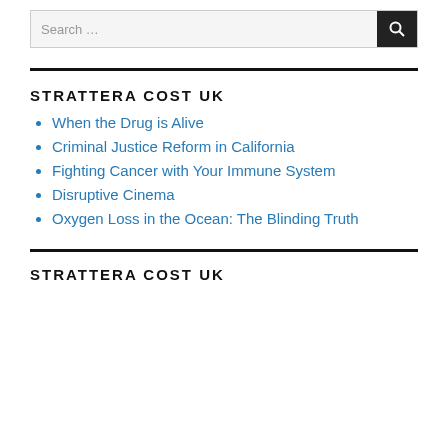Search …
STRATTERA COST UK
When the Drug is Alive
Criminal Justice Reform in California
Fighting Cancer with Your Immune System
Disruptive Cinema
Oxygen Loss in the Ocean: The Blinding Truth
STRATTERA COST UK